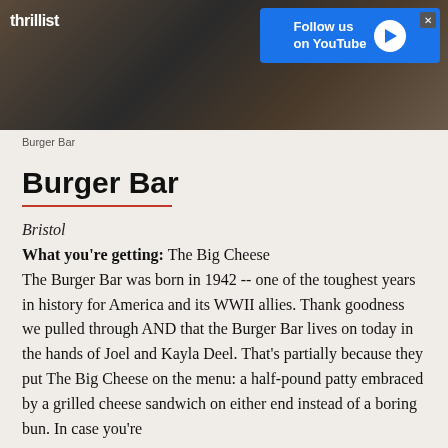[Figure (photo): A photo of a person eating at Burger Bar, with a Thrillist advertisement banner overlay showing 'Follow us on YouTube' with a play button]
Burger Bar
Burger Bar
Bristol
What you're getting: The Big Cheese
The Burger Bar was born in 1942 -- one of the toughest years in history for America and its WWII allies. Thank goodness we pulled through AND that the Burger Bar lives on today in the hands of Joel and Kayla Deel. That's partially because they put The Big Cheese on the menu: a half-pound patty embraced by a grilled cheese sandwich on either end instead of a boring bun. In case you're